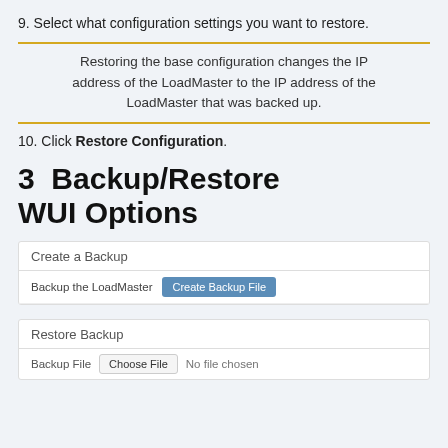9. Select what configuration settings you want to restore.
Restoring the base configuration changes the IP address of the LoadMaster to the IP address of the LoadMaster that was backed up.
10. Click Restore Configuration.
3  Backup/Restore WUI Options
| Create a Backup |  |
| --- | --- |
| Backup the LoadMaster | Create Backup File |
| Restore Backup |  |
| --- | --- |
| Backup File | Choose File  No file chosen |